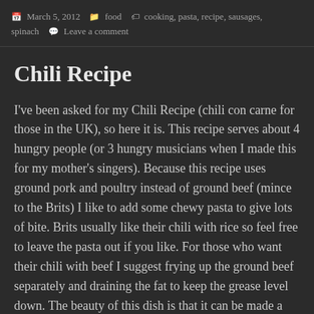March 5, 2012  food  cooking, pasta, recipe, sausages, spinach  Leave a comment
Chili Recipe
I've been asked for my Chili Recipe (chili con carne for those in the UK), so here it is. This recipe serves about 4 hungry people (or 3 hungry musicians when I made this for my mother's singers). Because this recipe uses ground pork and poultry instead of ground beef (mince to the Brits) I like to add some chewy pasta to give lots of bite. Brits usually like their chili with rice so feel free to leave the pasta out if you like. For those who want their chili with beef I suggest frying up the ground beef separately and draining the fat to keep the grease level down. The beauty of this dish is that it can be made a couple of